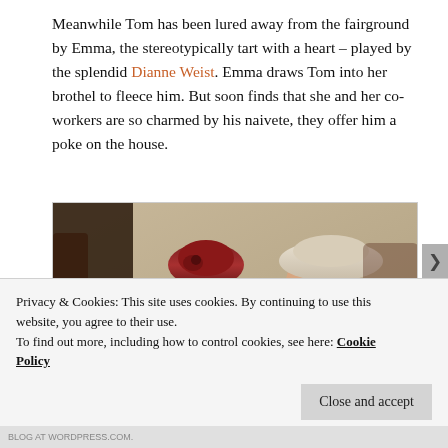Meanwhile Tom has been lured away from the fairground by Emma, the stereotypically tart with a heart – played by the splendid Dianne Weist. Emma draws Tom into her brothel to fleece him. But soon finds that she and her co-workers are so charmed by his naivete, they offer him a poke on the house.
[Figure (photo): A film still showing two actors in period costume — a woman with a red cloche hat and a man in a light-colored hat, looking at each other in an indoor setting.]
Privacy & Cookies: This site uses cookies. By continuing to use this website, you agree to their use.
To find out more, including how to control cookies, see here: Cookie Policy
Close and accept